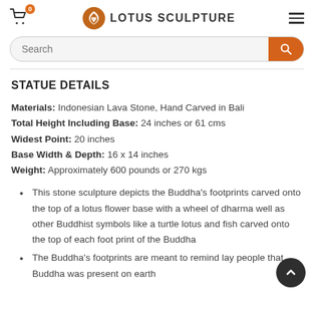Lotus Sculpture — cart (0), search bar, menu
STATUE DETAILS
Materials: Indonesian Lava Stone, Hand Carved in Bali
Total Height Including Base: 24 inches or 61 cms
Widest Point: 20 inches
Base Width & Depth: 16 x 14 inches
Weight: Approximately 600 pounds or 270 kgs
This stone sculpture depicts the Buddha's footprints carved onto the top of a lotus flower base with a wheel of dharma well as other Buddhist symbols like a turtle lotus and fish carved onto the top of each foot print of the Buddha
The Buddha's footprints are meant to remind lay people that Buddha was present on earth